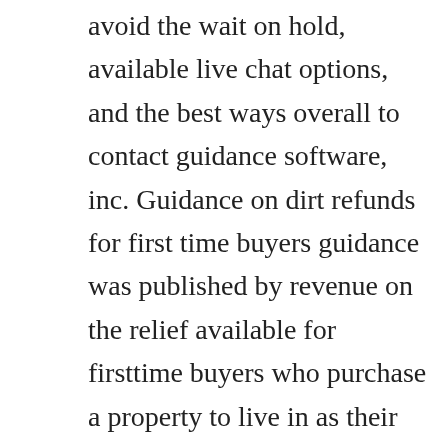avoid the wait on hold, available live chat options, and the best ways overall to contact guidance software, inc. Guidance on dirt refunds for first time buyers guidance was published by revenue on the relief available for firsttime buyers who purchase a property to live in as their home or who selfbuild a home to live in between 14 october 2014 and 31 december 2017.
Guidance server a web server for assessing alignment. Pers46 also liaisons with the bureau of medicine and surgery bumed for